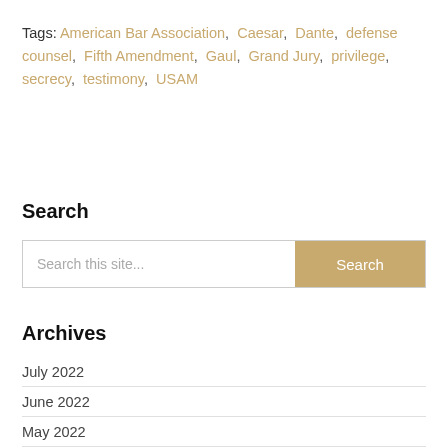Tags: American Bar Association, Caesar, Dante, defense counsel, Fifth Amendment, Gaul, Grand Jury, privilege, secrecy, testimony, USAM
Search
Search this site... Search
Archives
July 2022
June 2022
May 2022